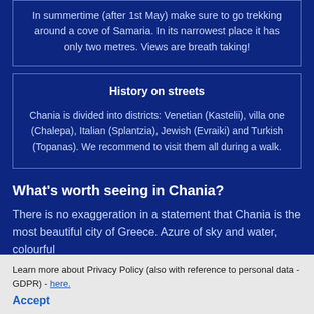In summertime (after 1st May) make sure to go trekking around a cove of Samaria. In its narrowest place it has only two metres. Views are breath taking!
History on streets
Chania is divided into districts: Venetian (Kastelii), villa one (Chalepa), Italian (Splantzia), Jewish (Evraiki) and Turkish (Topanas). We recommend to visit them all during a walk.
What’s worth seeing in Chania?
There is no exaggeration in a statement that Chania is the most beautiful city of Greece. Azure of sky and water, colourful
Learn more about Privacy Policy (also with reference to personal data - GDPR) - here.
Accept